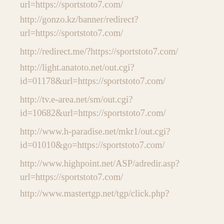url=https://sportstoto7.com/
http://gonzo.kz/banner/redirect?
url=https://sportstoto7.com/
http://redirect.me/?https://sportstoto7.com/
http://light.anatoto.net/out.cgi?
id=01178&url=https://sportstoto7.com/
http://tv.e-area.net/sm/out.cgi?
id=10682&url=https://sportstoto7.com/
http://www.h-paradise.net/mkr1/out.cgi?
id=01010&go=https://sportstoto7.com/
http://www.highpoint.net/ASP/adredir.asp?
url=https://sportstoto7.com/
http://www.mastertgp.net/tgp/click.php?
id=353693&u=https://sportstoto7.com/
http://dir.portokal-bg.net/counter.php?
redirect=https://sportstoto7.com/
http://www.slfeed.net/jump.php?
jump=https://sportstoto7.com/